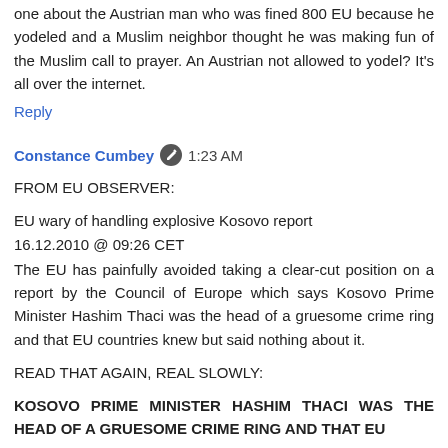one about the Austrian man who was fined 800 EU because he yodeled and a Muslim neighbor thought he was making fun of the Muslim call to prayer. An Austrian not allowed to yodel? It's all over the internet.
Reply
Constance Cumbey  1:23 AM
FROM EU OBSERVER:

EU wary of handling explosive Kosovo report
16.12.2010 @ 09:26 CET
The EU has painfully avoided taking a clear-cut position on a report by the Council of Europe which says Kosovo Prime Minister Hashim Thaci was the head of a gruesome crime ring and that EU countries knew but said nothing about it.

READ THAT AGAIN, REAL SLOWLY:

KOSOVO PRIME MINISTER HASHIM THACI WAS THE HEAD OF A GRUESOME CRIME RING AND THAT EU